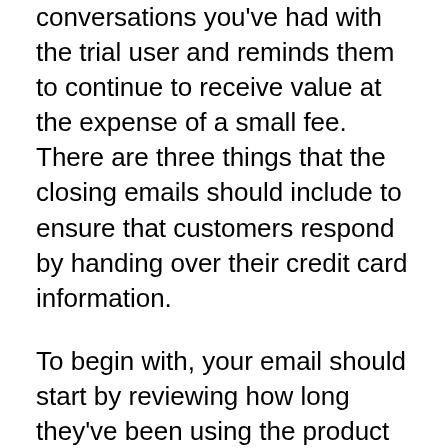conversations you've had with the trial user and reminds them to continue to receive value at the expense of a small fee. There are three things that the closing emails should include to ensure that customers respond by handing over their credit card information.
To begin with, your email should start by reviewing how long they've been using the product and how much quantifiable value they've received as a result of using the trial version. Then, you should outline the steps they'll need to take to gain access to the full product, with an emphasis on the features they'll unlock once they become paying customers. Finally, you need to provide them with a link that brings them to the exact right